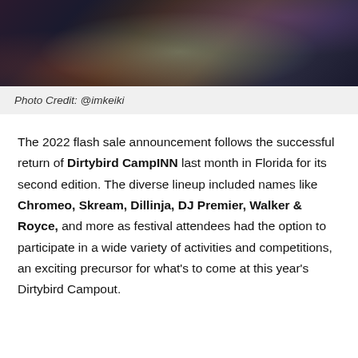[Figure (photo): DJ performing at Dirtybird CampINN event, dark stage with colorful lighting]
Photo Credit: @imkeiki
The 2022 flash sale announcement follows the successful return of Dirtybird CampINN last month in Florida for its second edition. The diverse lineup included names like Chromeo, Skream, Dillinja, DJ Premier, Walker & Royce, and more as festival attendees had the option to participate in a wide variety of activities and competitions, an exciting precursor for what’s to come at this year’s Dirtybird Campout.